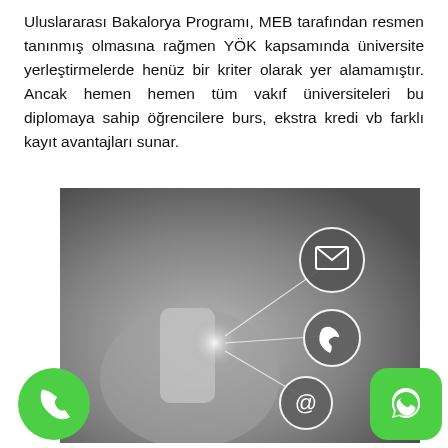Uluslararası Bakalorya Programı, MEB tarafından resmen tanınmış olmasına rağmen YÖK kapsamında üniversite yerleştirmelerde henüz bir kriter olarak yer alamamıştır. Ancak hemen hemen tüm vakıf üniversiteleri bu diplomaya sahip öğrencilere burs, ekstra kredi vb farklı kayıt avantajları sunar.
[Figure (photo): A grayscale photo of a hand holding a smartphone, with glowing contact icons (email envelope, phone receiver, at-symbol) radiating outward in circles. Green phone call button on the bottom left and green WhatsApp icon on the bottom right.]